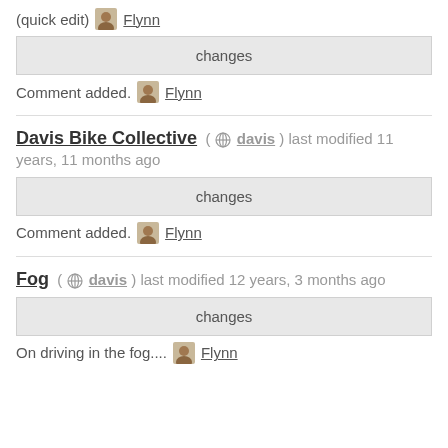(quick edit) Flynn
changes
Comment added. Flynn
Davis Bike Collective ( davis ) last modified 11 years, 11 months ago
changes
Comment added. Flynn
Fog ( davis ) last modified 12 years, 3 months ago
changes
On driving in the fog.... Flynn